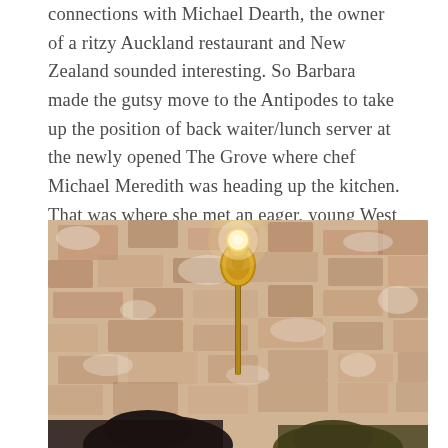connections with Michael Dearth, the owner of a ritzy Auckland restaurant and New Zealand sounded interesting. So Barbara made the gutsy move to the Antipodes to take up the position of back waiter/lunch server at the newly opened The Grove where chef Michael Meredith was heading up the kitchen. That was where she met an eager, young West Aucklander who stole her heart.
[Figure (photo): A photograph of two people (partially visible at bottom) seated against a rustic, peeling painted brick wall. A vintage-style wall sconce with a glowing Edison bulb is mounted on the wall between them. The atmosphere is warm and restaurant-like.]